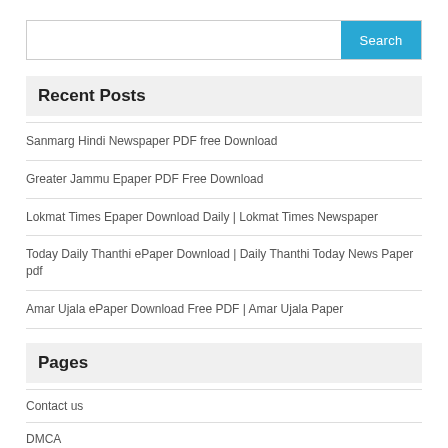[Figure (screenshot): Search bar with text input and blue 'Search' button]
Recent Posts
Sanmarg Hindi Newspaper PDF free Download
Greater Jammu Epaper PDF Free Download
Lokmat Times Epaper Download Daily | Lokmat Times Newspaper
Today Daily Thanthi ePaper Download | Daily Thanthi Today News Paper pdf
Amar Ujala ePaper Download Free PDF | Amar Ujala Paper
Pages
Contact us
DMCA